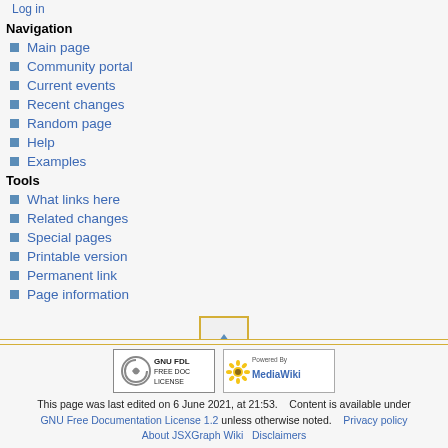Log in
Navigation
Main page
Community portal
Current events
Recent changes
Random page
Help
Examples
Tools
What links here
Related changes
Special pages
Printable version
Permanent link
Page information
[Figure (other): Scroll to top button with upward-pointing triangle]
GNU FDL FREE DOC LICENSE | Powered By MediaWiki | This page was last edited on 6 June 2021, at 21:53. Content is available under GNU Free Documentation License 1.2 unless otherwise noted. Privacy policy About JSXGraph Wiki Disclaimers